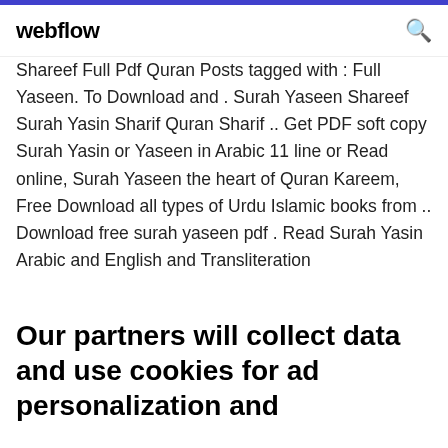webflow
Shareef Full Pdf Quran Posts tagged with : Full Yaseen. To Download and . Surah Yaseen Shareef Surah Yasin Sharif Quran Sharif .. Get PDF soft copy Surah Yasin or Yaseen in Arabic 11 line or Read online, Surah Yaseen the heart of Quran Kareem, Free Download all types of Urdu Islamic books from .. Download free surah yaseen pdf . Read Surah Yasin Arabic and English and Transliteration
Our partners will collect data and use cookies for ad personalization and